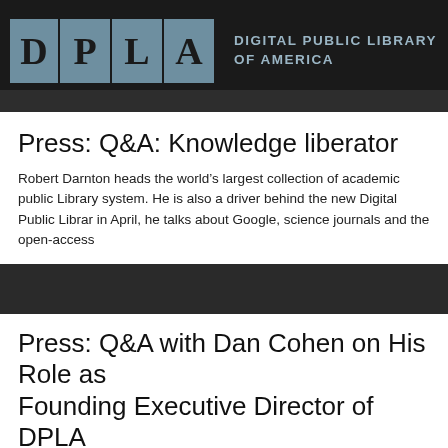DIGITAL PUBLIC LIBRARY OF AMERICA
Press: Q&A: Knowledge liberator
Robert Darnton heads the world's largest collection of academic public Library system. He is also a driver behind the new Digital Public Librar in April, he talks about Google, science journals and the open-access
Press: Q&A with Dan Cohen on His Role as Founding Executive Director of DPLA
Matt Enis recently interviewed Dan Cohen, DPLA Executive Director, f 12, 2013 article in Library Journal.